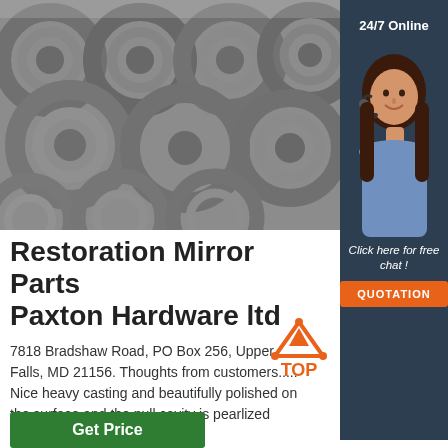[Figure (photo): Close-up photo of coiled steel wire rods stacked together in gray tones]
[Figure (photo): 24/7 Online customer support panel with woman wearing headset, dark blue background, click here for free chat text, and orange QUOTATION button]
Restoration Mirror Parts Paxton Hardware ltd
7818 Bradshaw Road, PO Box 256, Upper Falls, MD 21156. Thoughts from customers..... Nice heavy casting and beautifully polished on the surface and the pull cavity is pearlized finish.
[Figure (infographic): Orange TOP badge with triangle arrow pointing up and dots]
Get Price